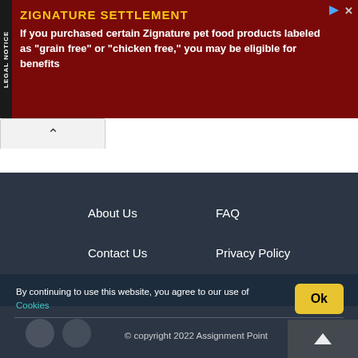[Figure (screenshot): Legal notice advertisement banner for Zignature Settlement on dark red background with yellow title text and white body text]
About Us
FAQ
Contact Us
Privacy Policy
By continuing to use this website, you agree to our use of Cookies
© copyright 2022 Assignment Point